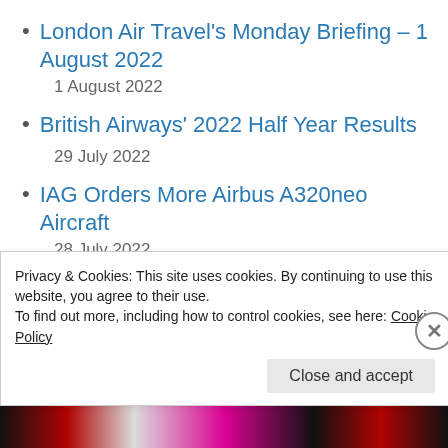London Air Travel's Monday Briefing – 1 August 2022
1 August 2022
British Airways' 2022 Half Year Results
29 July 2022
IAG Orders More Airbus A320neo Aircraft
28 July 2022
Privacy & Cookies: This site uses cookies. By continuing to use this website, you agree to their use.
To find out more, including how to control cookies, see here: Cookie Policy